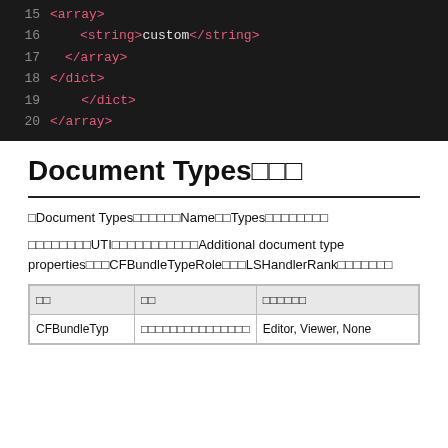[Figure (screenshot): Code editor screenshot showing XML/plist lines 15-20 with line numbers on dark background. Lines show array, string with 'custom', closing array, dict, dict, array tags.]
Document Types□□□
□Document Types□□□□□□□Name□□Types□□□□□□□□□
□□□□□□□□UTI□□□□□□□□□□□□Additional document type properties□□□CFBundleTypeRole□□□LSHandlerRank□□□□□□□□
| □□ | □□ | □□□□□□ |
| --- | --- | --- |
| CFBundleTyp | □□□□□□□□□□□□□□□ | Editor, Viewer, None |